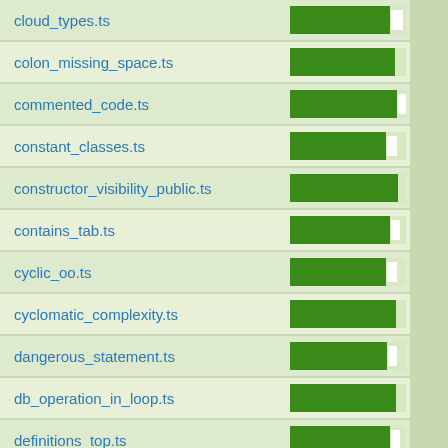| filename | bar | extra |
| --- | --- | --- |
| cloud_types.ts | [bar ~85%+small white] |  |
| colon_missing_space.ts | [bar ~78%] |  |
| commented_code.ts | [bar ~82%+small white] |  |
| constant_classes.ts | [bar ~78%+small white] |  |
| constructor_visibility_public.ts | [bar ~85%] |  |
| contains_tab.ts | [bar ~80%+small white] |  |
| cyclic_oo.ts | [bar ~78%+small white] |  |
| cyclomatic_complexity.ts | [bar ~80%] |  |
| dangerous_statement.ts | [bar ~78%+small white] |  |
| db_operation_in_loop.ts | [bar ~80%] |  |
| definitions_top.ts | [bar ~80%+small white] |  |
| description_empty.ts | [bar ~80%] |  |
| double_space.ts | [bar ~78%] |  |